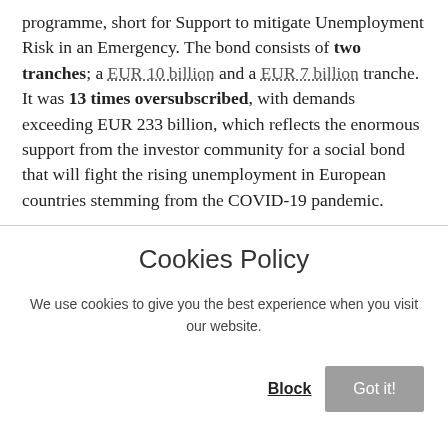programme, short for Support to mitigate Unemployment Risk in an Emergency. The bond consists of two tranches; a EUR 10 billion and a EUR 7 billion tranche. It was 13 times oversubscribed, with demands exceeding EUR 233 billion, which reflects the enormous support from the investor community for a social bond that will fight the rising unemployment in European countries stemming from the COVID-19 pandemic.
Cookies Policy
We use cookies to give you the best experience when you visit our website.